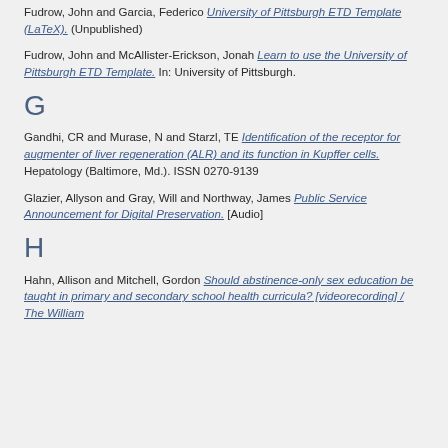Fudrow, John and Garcia, Federico University of Pittsburgh ETD Template (LaTeX). (Unpublished)
Fudrow, John and McAllister-Erickson, Jonah Learn to use the University of Pittsburgh ETD Template. In: University of Pittsburgh.
G
Gandhi, CR and Murase, N and Starzl, TE Identification of the receptor for augmenter of liver regeneration (ALR) and its function in Kupffer cells. Hepatology (Baltimore, Md.). ISSN 0270-9139
Glazier, Allyson and Gray, Will and Northway, James Public Service Announcement for Digital Preservation. [Audio]
H
Hahn, Allison and Mitchell, Gordon Should abstinence-only sex education be taught in primary and secondary school health curricula? [videorecording] / The William